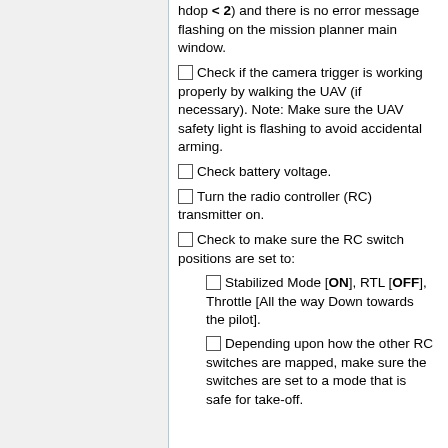hdop < 2) and there is no error message flashing on the mission planner main window.
Check if the camera trigger is working properly by walking the UAV (if necessary). Note: Make sure the UAV safety light is flashing to avoid accidental arming.
Check battery voltage.
Turn the radio controller (RC) transmitter on.
Check to make sure the RC switch positions are set to:
Stabilized Mode [ON], RTL [OFF], Throttle [All the way Down towards the pilot].
Depending upon how the other RC switches are mapped, make sure the switches are set to a mode that is safe for take-off.